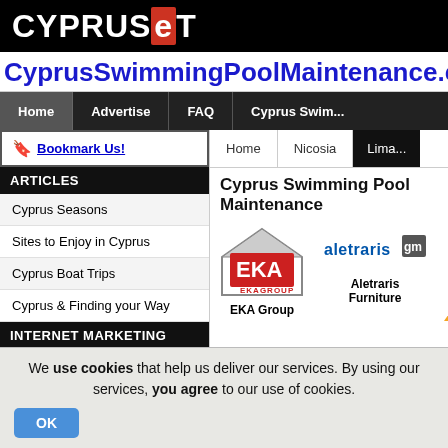CYPRUSNeT
CyprusSwimmingPoolMaintenance.com
Home | Advertise | FAQ | Cyprus Swim...
ARTICLES
Bookmark Us!
Cyprus Seasons
Sites to Enjoy in Cyprus
Cyprus Boat Trips
Cyprus & Finding your Way
INTERNET MARKETING
Do you wish to receive more
Home  Nicosia  Lima...
Cyprus Swimming Pool Maintenance
[Figure (logo): EKA Group logo - house shape with red EKA text inside and EKAGROUP below]
EKA Group
[Figure (logo): Aletraris Furniture logo - blue aletraris text with orange gm box]
Aletraris Furniture
We use cookies that help us deliver our services. By using our services, you agree to our use of cookies.
OK